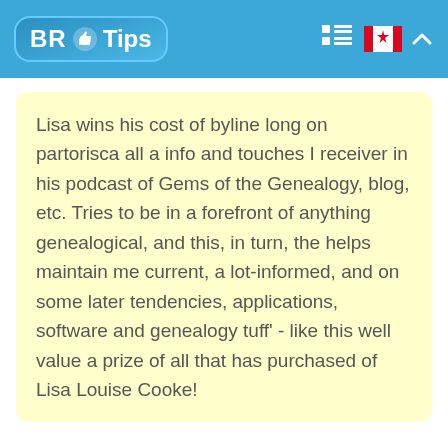BR Tips
Lisa wins his cost of byline long on partorisca all a info and touches I receiver in his podcast of Gems of the Genealogy, blog, etc. Tries to be in a forefront of anything genealogical, and this, in turn, the helps maintain me current, a lot-informed, and on some later tendencies, applications, software and genealogy tuff' - like this well value a prize of all that has purchased of Lisa Louise Cooke!
★★★★☆ 4 / 5  Anisha